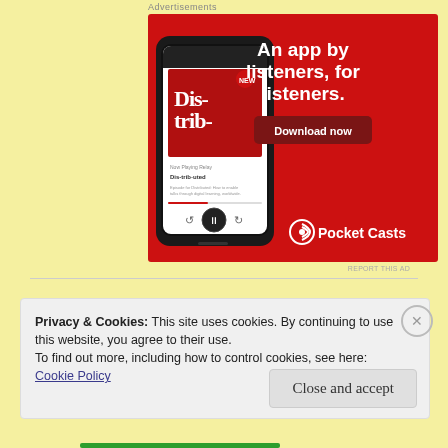Advertisements
[Figure (illustration): Pocket Casts app advertisement on red background featuring a smartphone mockup showing the 'Distributed' podcast playing. Text reads: 'An app by listeners, for listeners.' with a 'Download now' button and Pocket Casts logo.]
REPORT THIS AD
Privacy & Cookies: This site uses cookies. By continuing to use this website, you agree to their use.
To find out more, including how to control cookies, see here: Cookie Policy
Close and accept